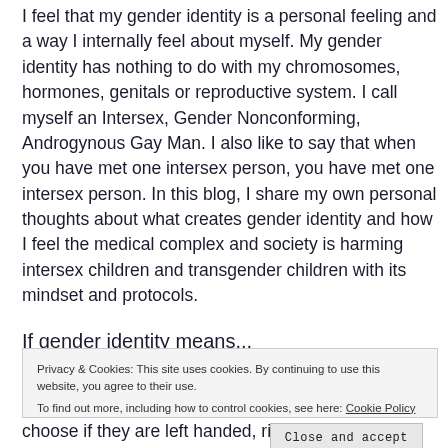I feel that my gender identity is a personal feeling and a way I internally feel about myself. My gender identity has nothing to do with my chromosomes, hormones, genitals or reproductive system. I call myself an Intersex, Gender Nonconforming, Androgynous Gay Man. I also like to say that when you have met one intersex person, you have met one intersex person. In this blog, I share my own personal thoughts about what creates gender identity and how I feel the medical complex and society is harming intersex children and transgender children with its mindset and protocols.
If gender identity means...
Privacy & Cookies: This site uses cookies. By continuing to use this website, you agree to their use. To find out more, including how to control cookies, see here: Cookie Policy
choose if they are left handed, right handed or